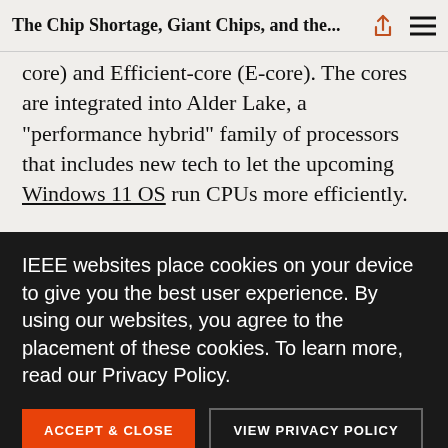The Chip Shortage, Giant Chips, and the...
core) and Efficient-core (E-core). The cores are integrated into Alder Lake, a "performance hybrid" family of processors that includes new tech to let the upcoming Windows 11 OS run CPUs more efficiently.
"This is an awesome time to be a computer architect," senior vice president and general manager Raja
IEEE websites place cookies on your device to give you the best user experience. By using our websites, you agree to the placement of these cookies. To learn more, read our Privacy Policy.
ACCEPT & CLOSE
VIEW PRIVACY POLICY